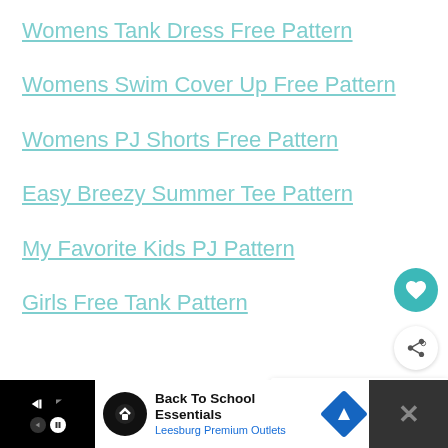Womens Tank Dress Free Pattern
Womens Swim Cover Up Free Pattern
Womens PJ Shorts Free Pattern
Easy Breezy Summer Tee Pattern
My Favorite Kids PJ Pattern
Girls Free Tank Pattern
[Figure (infographic): Heart/favorite button (teal circle with heart icon) and share button (white circle with share icon), plus 'What's Next' card showing Summer Kids Crafts and scroll-up button]
Back To School Essentials Leesburg Premium Outlets